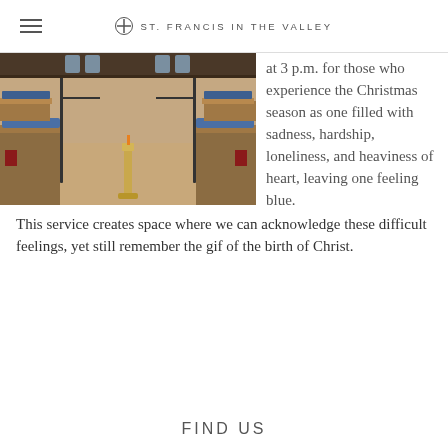ST. FRANCIS IN THE VALLEY
[Figure (photo): Interior of a church with wooden pews, blue cushions, iron railings, and a brass candlestick in the center aisle on a stone floor.]
at 3 p.m. for those who experience the Christmas season as one filled with sadness, hardship, loneliness, and heaviness of heart, leaving one feeling blue. This service creates space where we can acknowledge these difficult feelings, yet still remember the gif of the birth of Christ.
FIND US